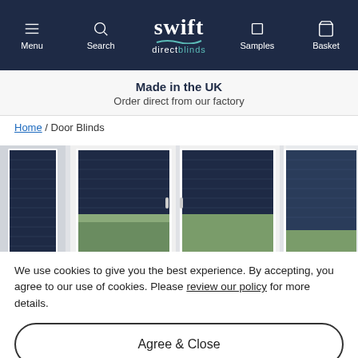Swift Direct Blinds — navigation bar with Menu, Search, Samples, Basket
Made in the UK
Order direct from our factory
Home / Door Blinds
[Figure (photo): Strip of product photos showing navy blue door blinds (venetian/pleated) fitted on white-framed doors and windows, with greenery visible outside.]
We use cookies to give you the best experience. By accepting, you agree to our use of cookies. Please review our policy for more details.
Agree & Close